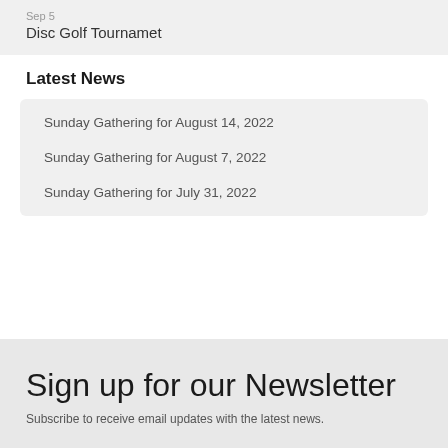Sep 5
Disc Golf Tournamet
Latest News
Sunday Gathering for August 14, 2022
Sunday Gathering for August 7, 2022
Sunday Gathering for July 31, 2022
Sign up for our Newsletter
Subscribe to receive email updates with the latest news.